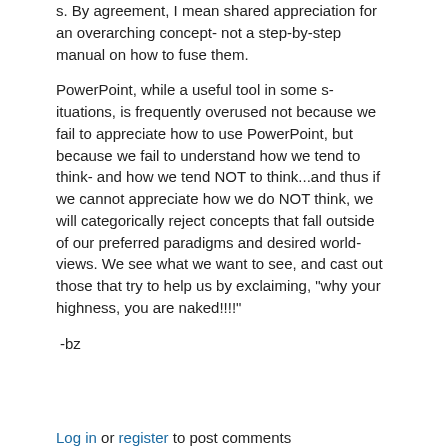s. By agreement, I mean shared appreciation for an overarching concept- not a step-by-step manual on how to fuse them.
PowerPoint, while a useful tool in some situations, is frequently overused not because we fail to appreciate how to use PowerPoint, but because we fail to understand how we tend to think- and how we tend NOT to think...and thus if we cannot appreciate how we do NOT think, we will categorically reject concepts that fall outside of our preferred paradigms and desired world-views. We see what we want to see, and cast out those that try to help us by exclaiming, "why your highness, you are naked!!!!"
-bz
Log in or register to post comments